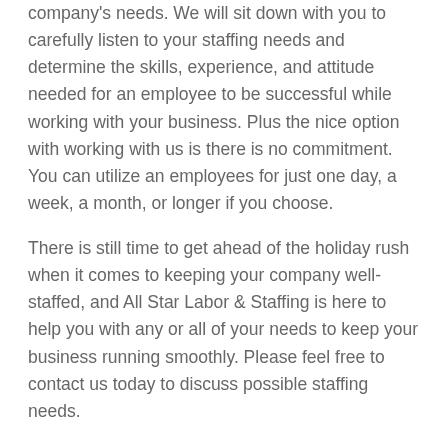company's needs. We will sit down with you to carefully listen to your staffing needs and determine the skills, experience, and attitude needed for an employee to be successful while working with your business. Plus the nice option with working with us is there is no commitment. You can utilize an employees for just one day, a week, a month, or longer if you choose.
There is still time to get ahead of the holiday rush when it comes to keeping your company well-staffed, and All Star Labor & Staffing is here to help you with any or all of your needs to keep your business running smoothly. Please feel free to contact us today to discuss possible staffing needs.
All Star Labor & Staffing offices:
Portland – 503.619.0811
Salem – 971.209.7130